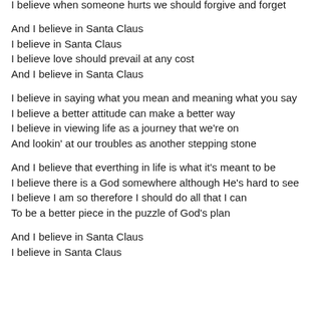I believe when someone hurts we should forgive and forget
And I believe in Santa Claus
I believe in Santa Claus
I believe love should prevail at any cost
And I believe in Santa Claus
I believe in saying what you mean and meaning what you say
I believe a better attitude can make a better way
I believe in viewing life as a journey that we're on
And lookin' at our troubles as another stepping stone
And I believe that everthing in life is what it's meant to be
I believe there is a God somewhere although He's hard to see
I believe I am so therefore I should do all that I can
To be a better piece in the puzzle of God's plan
And I believe in Santa Claus
I believe in Santa Claus